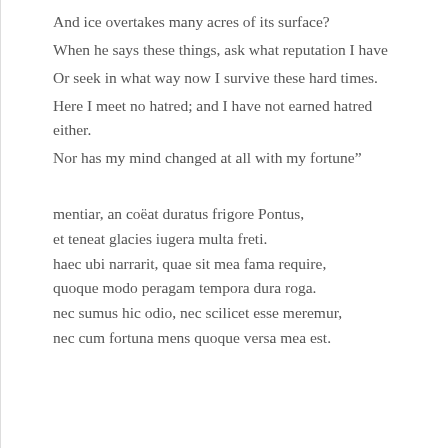And ice overtakes many acres of its surface?
When he says these things, ask what reputation I have
Or seek in what way now I survive these hard times.
Here I meet no hatred; and I have not earned hatred either.
Nor has my mind changed at all with my fortune”
mentiar, an coëat duratus frigore Pontus,
et teneat glacies iugera multa freti.
haec ubi narrarit, quae sit mea fama require,
quoque modo peragam tempora dura roga.
nec sumus hic odio, nec scilicet esse meremur,
nec cum fortuna mens quoque versa mea est.